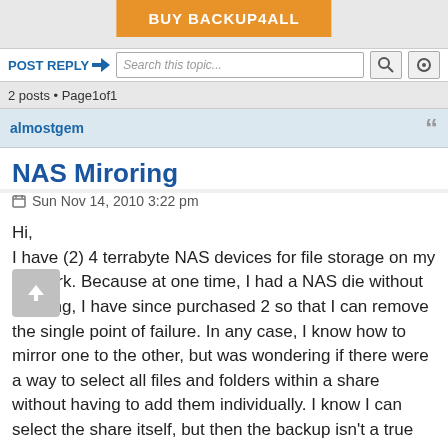[Figure (screenshot): Orange 'BUY BACKUP4ALL' button in the top center]
POST REPLY | Search this topic... | [search icon] | [settings icon]
2 posts • Page1of1
almostgem
NAS Miroring
Sun Nov 14, 2010 3:22 pm
Hi,
I have (2) 4 terrabyte NAS devices for file storage on my network. Because at one time, I had a NAS die without warning, I have since purchased 2 so that I can remove the single point of failure. In any case, I know how to mirror one to the other, but was wondering if there were a way to select all files and folders within a share without having to add them individually. I know I can select the share itself, but then the backup isn't a true mirror - at that point the